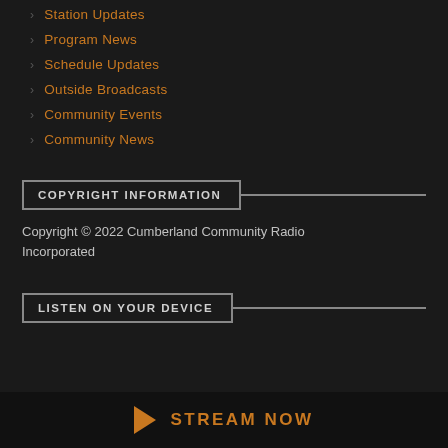Station Updates
Program News
Schedule Updates
Outside Broadcasts
Community Events
Community News
COPYRIGHT INFORMATION
Copyright © 2022 Cumberland Community Radio Incorporated
LISTEN ON YOUR DEVICE
STREAM NOW